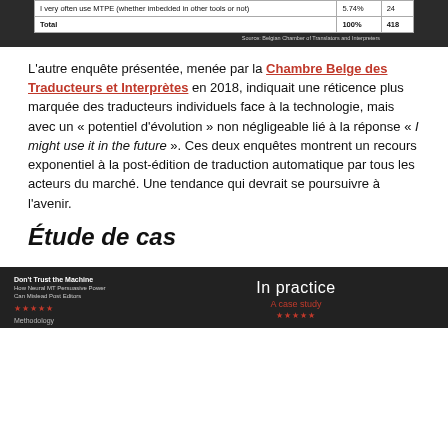|  | % | # |
| --- | --- | --- |
| I very often use MTPE (whether imbedded in other tools or not) | 5.74% | 24 |
| Total | 100% | 418 |
Source: Belgian Chamber of Translators and Interpreters
L'autre enquête présentée, menée par la Chambre Belge des Traducteurs et Interprètes en 2018, indiquait une réticence plus marquée des traducteurs individuels face à la technologie, mais avec un « potentiel d'évolution » non négligeable lié à la réponse « I might use it in the future ». Ces deux enquêtes montrent un recours exponentiel à la post-édition de traduction automatique par tous les acteurs du marché. Une tendance qui devrait se poursuivre à l'avenir.
Étude de cas
[Figure (photo): Book cover or presentation slide: 'Don't Trust the Machine – How Neural MT Persuasive Power Can Mislead Post Editors' with rating stars on the left, and 'In practice / A case study' text with stars on the right, on a dark background. Methodology text visible at bottom left.]